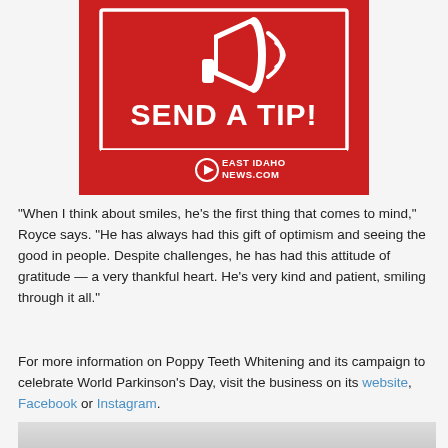[Figure (logo): Red advertisement banner with megaphone icon and white bold text 'SEND A TIP!' with East Idaho News.com logo and play button icon at the bottom]
“When I think about smiles, he’s the first thing that comes to mind,” Royce says. “He has always had this gift of optimism and seeing the good in people. Despite challenges, he has had this attitude of gratitude — a very thankful heart. He’s very kind and patient, smiling through it all.”
For more information on Poppy Teeth Whitening and its campaign to celebrate World Parkinson’s Day, visit the business on its website, Facebook or Instagram.
[Figure (photo): Bottom portion of a photo showing what appears to be a white interior room or piece of furniture, partially visible at the bottom of the page]